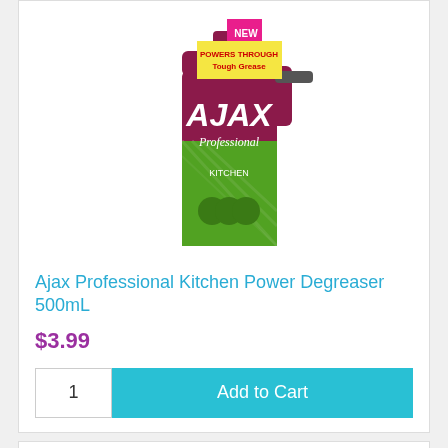[Figure (photo): Ajax Professional Kitchen Power Degreaser 500mL spray bottle with red/magenta label, 'NEW' badge, 'POWERS THROUGH Tough Grease' text, green stripes, Ajax logo in red letters, 'Professional' in white cursive, Kitchen variant]
Ajax Professional Kitchen Power Degreaser 500mL
$3.99
1
Add to Cart
14% OFF
RRP $6.99
[Figure (photo): Organic spray bottle cleaner with black trigger sprayer and dark green bottle, partially visible, 'ORGANIC' text visible at bottom]